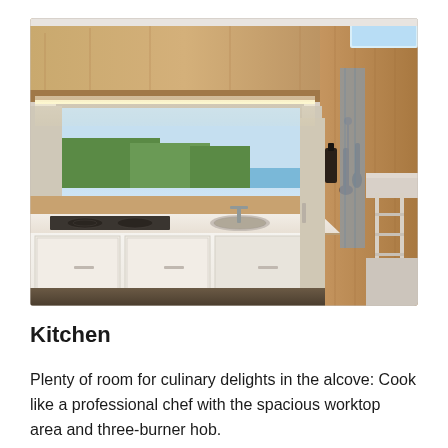[Figure (photo): Interior of a modern camper/motorhome kitchen showing a white worktop with induction hob, round sink, overhead wooden cabinets with warm LED lighting, a window overlooking trees and water, utensils hanging on the wall, and a bunk bed area with ladder visible in the background.]
Kitchen
Plenty of room for culinary delights in the alcove: Cook like a professional chef with the spacious worktop area and three-burner hob.